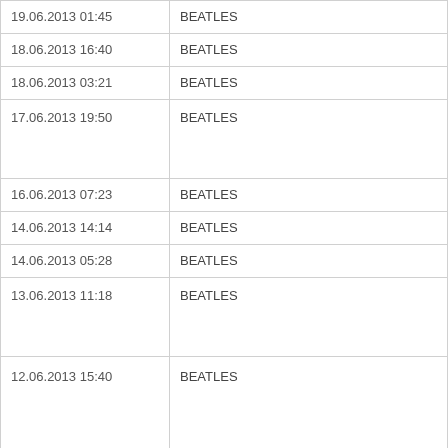| 19.06.2013 01:45 | BEATLES |
| 18.06.2013 16:40 | BEATLES |
| 18.06.2013 03:21 | BEATLES |
| 17.06.2013 19:50 | BEATLES |
| 16.06.2013 07:23 | BEATLES |
| 14.06.2013 14:14 | BEATLES |
| 14.06.2013 05:28 | BEATLES |
| 13.06.2013 11:18 | BEATLES |
| 12.06.2013 15:40 | BEATLES |
| 12.06.2013 02:23 | BEATLES |
| 11.06.2013 19:22 | BEATLES |
| 11.06.2013 08:27 | BEATLES |
| 10.06.2013 23:33 | BEATLES |